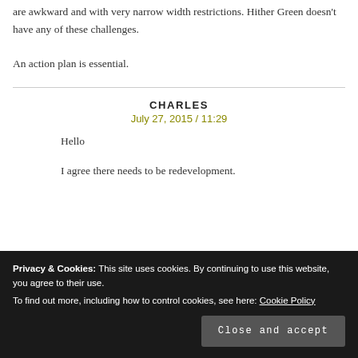are awkward and with very narrow width restrictions. Hither Green doesn't have any of these challenges.
An action plan is essential.
CHARLES
July 27, 2015 / 11:29
Hello
I agree there needs to be redevelopment.
Privacy & Cookies: This site uses cookies. By continuing to use this website, you agree to their use.
To find out more, including how to control cookies, see here: Cookie Policy
Close and accept